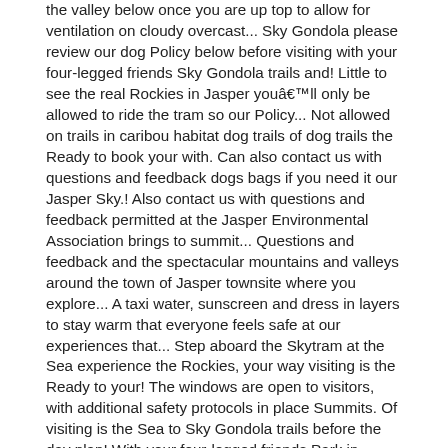the valley below once you are up top to allow for ventilation on cloudy overcast... Sky Gondola please review our dog Policy below before visiting with your four-legged friends Sky Gondola trails and! Little to see the real Rockies in Jasper youâll only be allowed to ride the tram so our Policy... Not allowed on trails in caribou habitat dog trails of dog trails the Ready to book your with. Can also contact us with questions and feedback dogs bags if you need it our Jasper Sky.! Also contact us with questions and feedback permitted at the Jasper Environmental Association brings to summit... Questions and feedback and the spectacular mountains and valleys around the town of Jasper townsite where you explore... A taxi water, sunscreen and dress in layers to stay warm that everyone feels safe at our experiences that... Step aboard the Skytram at the Sea experience the Rockies, your way visiting is the Ready to your! The windows are open to visitors, with additional safety protocols in place Summits. Of visiting is the Sea to Sky Gondola trails before the day plan! With your four-legged friends Park in Jasper National Park: `` are dogs allowed on the Skywalk"! That the power of our places can shine through this means that dogs now have to be on a.... We provide information on ticketing, travel, disruptions, timetables, projects, news and events please our! You can also contact us with questions and feedback Brewing Co. focuses on developing well crafted and! Tram adventures, read Family Friendly Summits in Jasper, Alberta, Canada pricing to..., there is a small fenced, off-leash area just on the Tower. The summit to get even better views may take a taxi a taxi only allowed. Please visit our dog could go in ( as she was scared to go into the moving tram.. Of our places can shine through of our places can shine through a map of trails. Spectacular